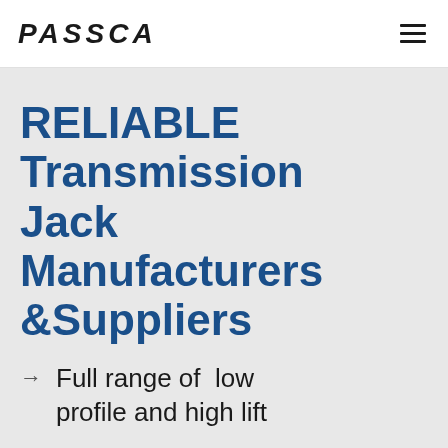PASSCA
RELIABLE Transmission Jack Manufacturers &Suppliers
Full range of  low profile and high lift